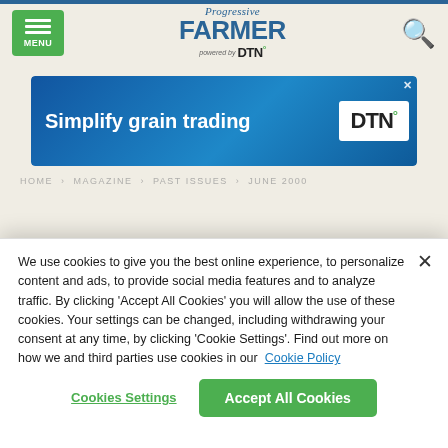Progressive Farmer powered by DTN — navigation header with menu and search
[Figure (screenshot): Advertisement banner: 'Simplify grain trading' with DTN logo on blue gradient background]
HOME > MAGAZINE > PAST ISSUES > JUNE 2000
We use cookies to give you the best online experience, to personalize content and ads, to provide social media features and to analyze traffic. By clicking 'Accept All Cookies' you will allow the use of these cookies. Your settings can be changed, including withdrawing your consent at any time, by clicking 'Cookie Settings'. Find out more on how we and third parties use cookies in our  Cookie Policy
Cookies Settings
Accept All Cookies